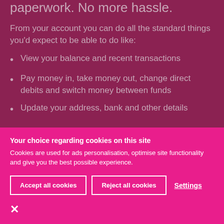paperwork. No more hassle.
From your account you can do all the standard things you'd expect to be able to do like:
View your balance and recent transactions
Pay money in, take money out, change direct debits and switch money between funds
Update your address, bank and other details
Your choice regarding cookies on this site
Cookies are used for ads personalisation, optimise site functionality and give you the best possible experience.
Accept all cookies
Reject all cookies
Settings